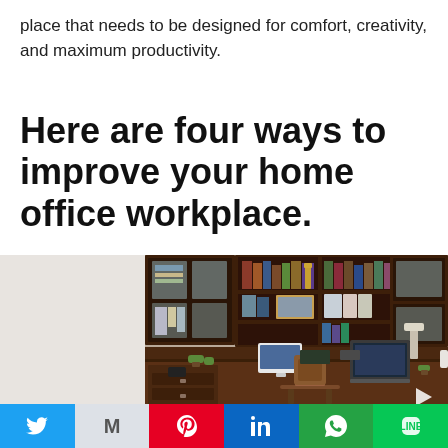place that needs to be designed for comfort, creativity, and maximum productivity.
Here are four ways to improve your home office workplace.
[Figure (photo): Home office workspace with dark wood wall-mounted shelving units filled with books and binders, a laptop on a large desk, an office chair, small plants, and various desk accessories.]
Social sharing bar with Twitter, Gmail, Pinterest, LinkedIn, WhatsApp, LINE buttons